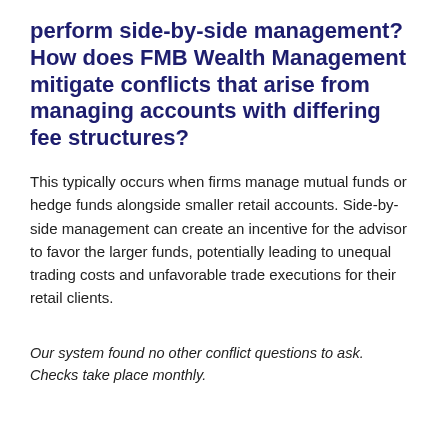perform side-by-side management? How does FMB Wealth Management mitigate conflicts that arise from managing accounts with differing fee structures?
This typically occurs when firms manage mutual funds or hedge funds alongside smaller retail accounts. Side-by-side management can create an incentive for the advisor to favor the larger funds, potentially leading to unequal trading costs and unfavorable trade executions for their retail clients.
Our system found no other conflict questions to ask. Checks take place monthly.